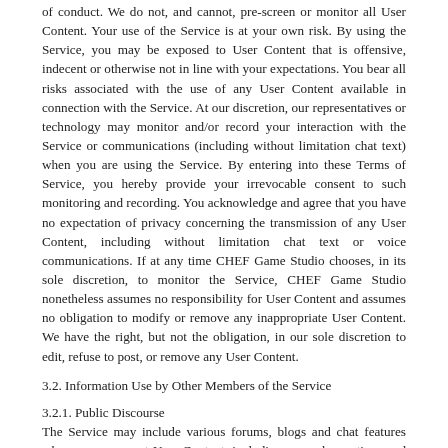of conduct. We do not, and cannot, pre-screen or monitor all User Content. Your use of the Service is at your own risk. By using the Service, you may be exposed to User Content that is offensive, indecent or otherwise not in line with your expectations. You bear all risks associated with the use of any User Content available in connection with the Service. At our discretion, our representatives or technology may monitor and/or record your interaction with the Service or communications (including without limitation chat text) when you are using the Service. By entering into these Terms of Service, you hereby provide your irrevocable consent to such monitoring and recording. You acknowledge and agree that you have no expectation of privacy concerning the transmission of any User Content, including without limitation chat text or voice communications. If at any time CHEF Game Studio chooses, in its sole discretion, to monitor the Service, CHEF Game Studio nonetheless assumes no responsibility for User Content and assumes no obligation to modify or remove any inappropriate User Content. We have the right, but not the obligation, in our sole discretion to edit, refuse to post, or remove any User Content.
3.2. Information Use by Other Members of the Service
3.2.1. Public Discourse
The Service may include various forums, blogs and chat features where you can post User Content, including your observations and comments on designated topics. CHEF Game